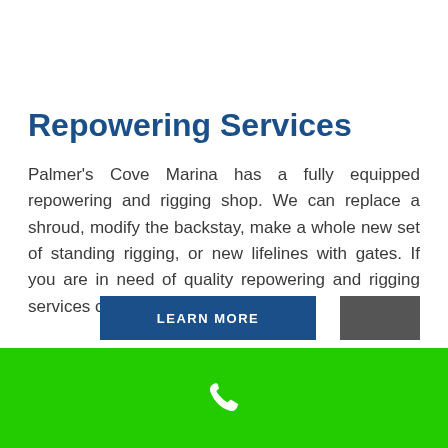Repowering Services
Palmer's Cove Marina has a fully equipped repowering and rigging shop. We can replace a shroud, modify the backstay, make a whole new set of standing rigging, or new lifelines with gates. If you are in need of quality repowering and rigging services contact us today.
[Figure (other): Green footer bar with white phone icon]